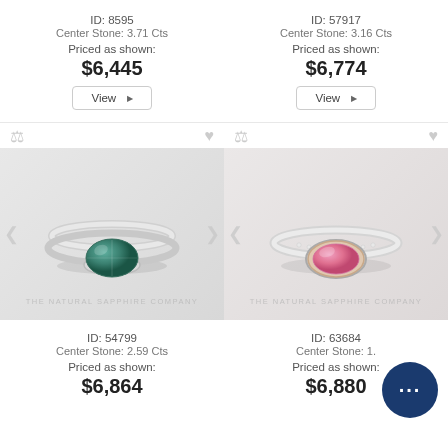ID: 8595
Center Stone: 3.71 Cts
Priced as shown:
$6,445
View
ID: 57917
Center Stone: 3.16 Cts
Priced as shown:
$6,774
View
[Figure (photo): Blue/teal sapphire ring with diamond band on white background, The Natural Sapphire Company watermark]
[Figure (photo): Pink sapphire oval ring with diamond band on white background, The Natural Sapphire Company watermark]
ID: 54799
Center Stone: 2.59 Cts
Priced as shown:
$6,864
ID: 63684
Center Stone: 1.
Priced as shown:
$6,880